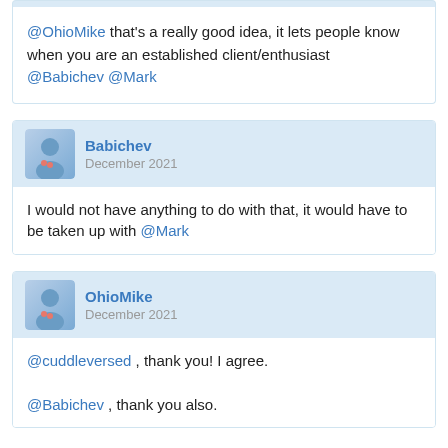@OhioMike that's a really good idea, it lets people know when you are an established client/enthusiast @Babichev @Mark
Babichev
December 2021
I would not have anything to do with that, it would have to be taken up with @Mark
OhioMike
December 2021
@cuddleversed , thank you! I agree.
@Babichev , thank you also.